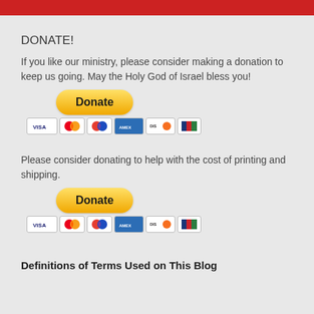DONATE!
If you like our ministry, please consider making a donation to keep us going. May the Holy God of Israel bless you!
[Figure (other): PayPal Donate button with credit card icons below (VISA, Mastercard, Discover, AmEx, etc.)]
Please consider donating to help with the cost of printing and shipping.
[Figure (other): PayPal Donate button with credit card icons below (VISA, Mastercard, Discover, AmEx, etc.)]
Definitions of Terms Used on This Blog